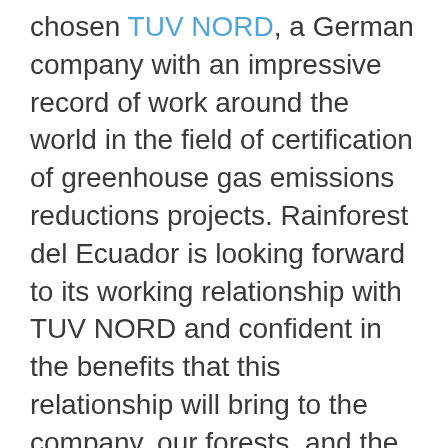chosen TUV NORD, a German company with an impressive record of work around the world in the field of certification of greenhouse gas emissions reductions projects. Rainforest del Ecuador is looking forward to its working relationship with TUV NORD and confident in the benefits that this relationship will bring to the company, our forests, and the communities we work with.
For further information, contact: